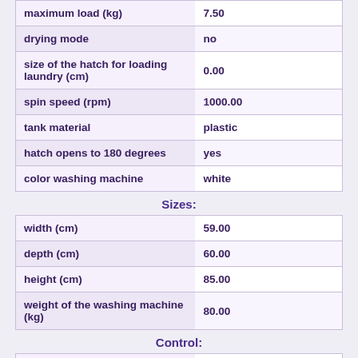| property | value |
| --- | --- |
| maximum load (kg) | 7.50 |
| drying mode | no |
| size of the hatch for loading laundry (cm) | 0.00 |
| spin speed (rpm) | 1000.00 |
| tank material | plastic |
| hatch opens to 180 degrees | yes |
| color washing machine | white |
Sizes:
| property | value |
| --- | --- |
| width (cm) | 59.00 |
| depth (cm) | 60.00 |
| height (cm) | 85.00 |
| weight of the washing machine (kg) | 80.00 |
Control:
| property | value |
| --- | --- |
| special washing programs | prewash, express laundry, wash sportswear, wash in plenty of water, wash delicate fabrics, preventing creasing |